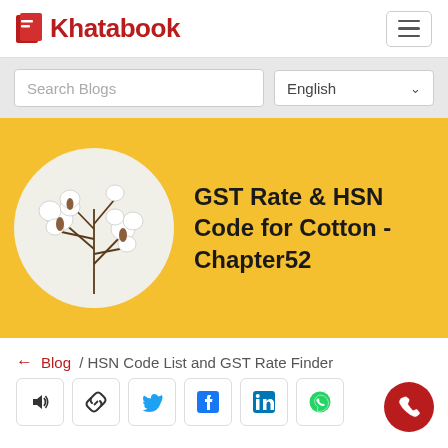Khatabook
Search Blogs | English
[Figure (illustration): Cotton plant illustration inside a white circle on a yellow/gold background, with the article title 'GST Rate & HSN Code for Cotton - Chapter52']
GST Rate & HSN Code for Cotton - Chapter52
← Blog / HSN Code List and GST Rate Finder
Social share icons: speaker, link, twitter, facebook, linkedin, whatsapp